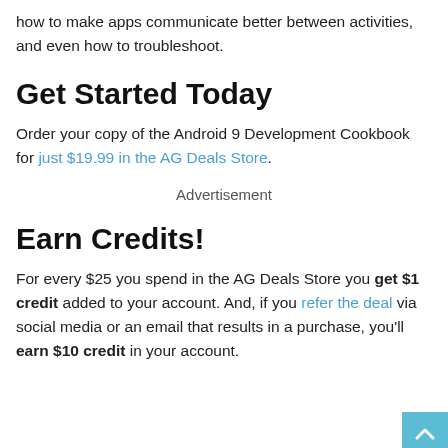how to make apps communicate better between activities, and even how to troubleshoot.
Get Started Today
Order your copy of the Android 9 Development Cookbook for just $19.99 in the AG Deals Store.
Advertisement
Earn Credits!
For every $25 you spend in the AG Deals Store you get $1 credit added to your account. And, if you refer the deal via social media or an email that results in a purchase, you'll earn $10 credit in your account.